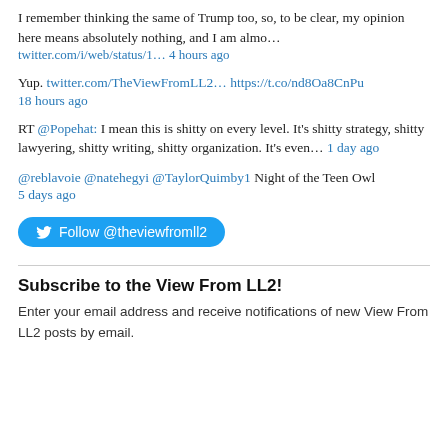I remember thinking the same of Trump too, so, to be clear, my opinion here means absolutely nothing, and I am almo… twitter.com/i/web/status/1… 4 hours ago
Yup. twitter.com/TheViewFromLL2… https://t.co/nd8Oa8CnPu 18 hours ago
RT @Popehat: I mean this is shitty on every level. It's shitty strategy, shitty lawyering, shitty writing, shitty organization. It's even… 1 day ago
@reblavoie @natehegyi @TaylorQuimby1 Night of the Teen Owl 5 days ago
[Figure (other): Follow @theviewfromll2 button with Twitter bird icon]
Subscribe to the View From LL2!
Enter your email address and receive notifications of new View From LL2 posts by email.